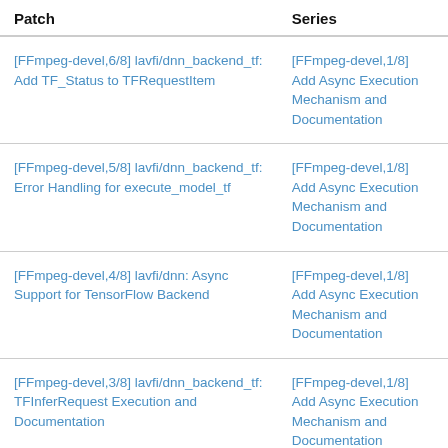| Patch | Series |
| --- | --- |
| [FFmpeg-devel,6/8] lavfi/dnn_backend_tf: Add TF_Status to TFRequestItem | [FFmpeg-devel,1/8] Add Async Execution Mechanism and Documentation |
| [FFmpeg-devel,5/8] lavfi/dnn_backend_tf: Error Handling for execute_model_tf | [FFmpeg-devel,1/8] Add Async Execution Mechanism and Documentation |
| [FFmpeg-devel,4/8] lavfi/dnn: Async Support for TensorFlow Backend | [FFmpeg-devel,1/8] Add Async Execution Mechanism and Documentation |
| [FFmpeg-devel,3/8] lavfi/dnn_backend_tf: TFInferRequest Execution and Documentation | [FFmpeg-devel,1/8] Add Async Execution Mechanism and Documentation |
| [FFmpeg-devel,2/8] lavfi/dnn: Common Function to Get Async Result in DNN Backends | [FFmpeg-devel,1/8] Add Async Execution Mechanism and Documentation |